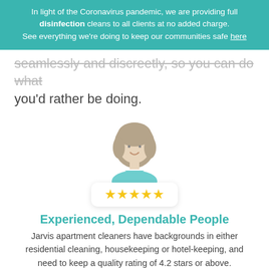In light of the Coronavirus pandemic, we are providing full disinfection cleans to all clients at no added charge. See everything we're doing to keep our communities safe here
seamlessly and discreetly, so you can do what you'd rather be doing.
[Figure (illustration): Cartoon illustration of a woman with short brown hair wearing a teal/cyan top, smiling. Below is a white card with five gold stars rating.]
Experienced, Dependable People
Jarvis apartment cleaners have backgrounds in either residential cleaning, housekeeping or hotel-keeping, and need to keep a quality rating of 4.2 stars or above.